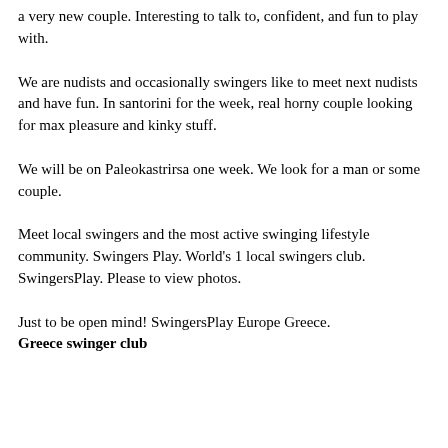a very new couple. Interesting to talk to, confident, and fun to play with.
We are nudists and occasionally swingers like to meet next nudists and have fun. In santorini for the week, real horny couple looking for max pleasure and kinky stuff.
We will be on Paleokastrirsa one week. We look for a man or some couple.
Meet local swingers and the most active swinging lifestyle community. Swingers Play. World's 1 local swingers club. SwingersPlay. Please to view photos.
Just to be open mind! SwingersPlay Europe Greece.
Greece swinger club